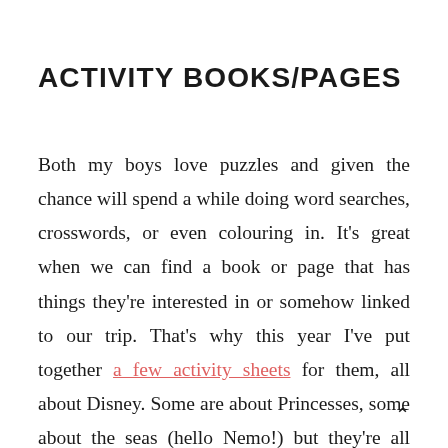ACTIVITY BOOKS/PAGES
Both my boys love puzzles and given the chance will spend a while doing word searches, crosswords, or even colouring in. It's great when we can find a book or page that has things they're interested in or somehow linked to our trip. That's why this year I've put together a few activity sheets for them, all about Disney. Some are about Princesses, some about the seas (hello Nemo!) but they're all easy enough that